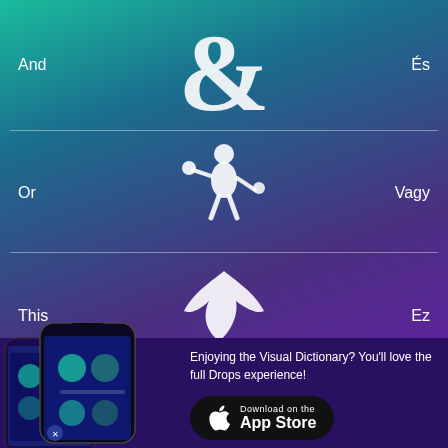And
És
[Figure (illustration): Large white ampersand symbol (&) centered on green-teal gradient background]
Or
Vagy
[Figure (illustration): White illustrated figure juggling balls, centered on teal-blue gradient background]
This
Ez
[Figure (illustration): White illustrated bird/drop swooping down with a small circle below, on purple-blue gradient background]
[Figure (screenshot): Two smartphones showing the Drops app interface with illustrated vocabulary items]
Enjoying the Visual Dictionary? You'll love the full Drops experience!
Download on the App Store